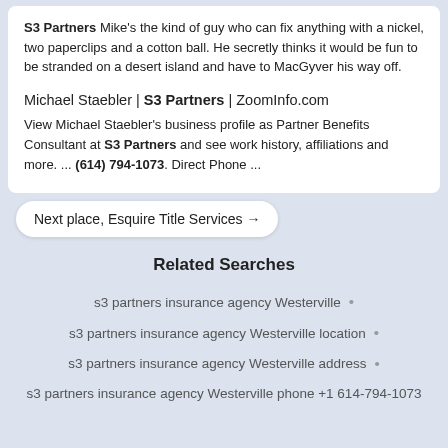S3 Partners Mike's the kind of guy who can fix anything with a nickel, two paperclips and a cotton ball. He secretly thinks it would be fun to be stranded on a desert island and have to MacGyver his way off.
Michael Staebler | S3 Partners | ZoomInfo.com
View Michael Staebler's business profile as Partner Benefits Consultant at S3 Partners and see work history, affiliations and more. ... (614) 794-1073. Direct Phone ...
Next place, Esquire Title Services →
Related Searches
s3 partners insurance agency Westerville •
s3 partners insurance agency Westerville location •
s3 partners insurance agency Westerville address •
s3 partners insurance agency Westerville phone +1 614-794-1073